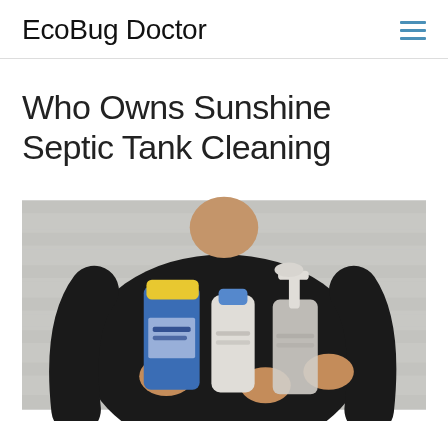EcoBug Doctor
Who Owns Sunshine Septic Tank Cleaning
[Figure (photo): Person wearing a black long-sleeve top holding multiple cleaning product bottles including a blue container with yellow lid, a white bottle with blue cap, and a pump dispenser bottle, against a light gray slatted background.]